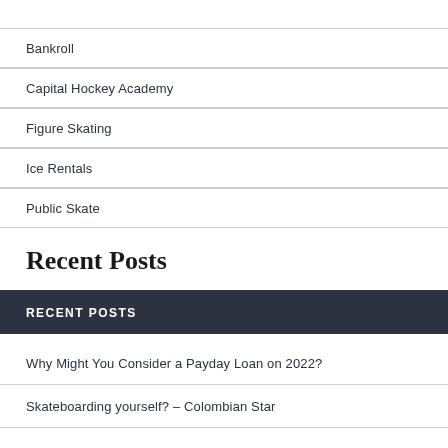Bankroll
Capital Hockey Academy
Figure Skating
Ice Rentals
Public Skate
Recent Posts
RECENT POSTS
Why Might You Consider a Payday Loan on 2022?
Skateboarding yourself? – Colombian Star